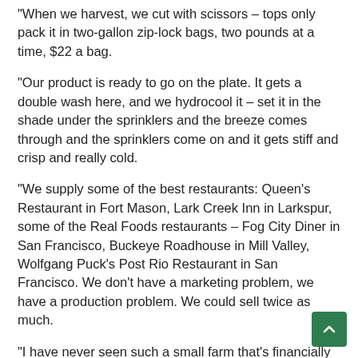“When we harvest, we cut with scissors – tops only pack it in two-gallon zip-lock bags, two pounds at a time, $22 a bag.
“Our product is ready to go on the plate. It gets a double wash here, and we hydrocool it – set it in the shade under the sprinklers and the breeze comes through and the sprinklers come on and it gets stiff and crisp and really cold.
“We supply some of the best restaurants: Queen’s Restaurant in Fort Mason, Lark Creek Inn in Larkspur, some of the Real Foods restaurants – Fog City Diner in San Francisco, Buckeye Roadhouse in Mill Valley, Wolfgang Puck’s Post Rio Restaurant in San Francisco. We don’t have a marketing problem, we have a production problem. We could sell twice as much.
“I have never seen such a small farm that’s financially viable. But what makes this work is we’re right next to